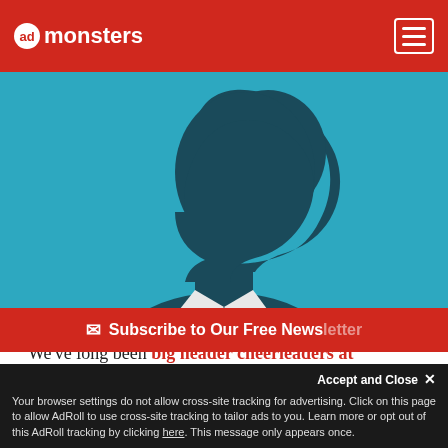AdMonsters
[Figure (illustration): Silhouette of a man in profile wearing a suit and tie against a teal/cyan background, minimalist flat illustration style]
We've long been big header cheerleaders at AdMonsters, but we also have never shied away from one of its biggest setbacks: potential latency issues. Indeed, fear of latency has kept some premium publishers away from header integrations and continues to make others wary about embracing header tech too closely.
At the same time, maybe we haven't gone enough into the
Subscribe to Our Free News
Accept and Close ✕
Your browser settings do not allow cross-site tracking for advertising. Click on this page to allow AdRoll to use cross-site tracking to tailor ads to you. Learn more or opt out of this AdRoll tracking by clicking here. This message only appears once.